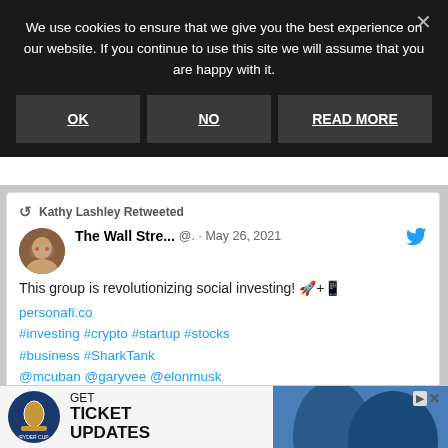We use cookies to ensure that we give you the best experience on our website. If you continue to use this site we will assume that you are happy with it.
OK | NO | READ MORE
Kathy Lashley Retweeted
The Wall Stre... @. · May 26, 2021
This group is revolutionizing social investing! 🚀+📱
personafi.co
#investing #crypto #startup #stocks #business #SharkTank
@mcuban @garyvee @elonmusk @jimcramer @personafi_appp
GET TICKET UPDATES